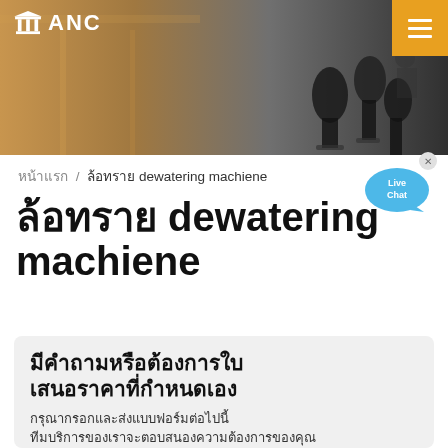[Figure (photo): Website header with ANC logo on left, hamburger menu button (orange) on top right, factory/industrial background photo with microphones in foreground]
หน้าแรก / ล้อทราย dewatering machiene
[Figure (illustration): Live Chat speech bubble icon in blue with 'Live Chat' text and x button]
ล้อทราย dewatering machiene
มีคำถามหรือต้องการใบเสนอราคาที่กำหนดเอง
กรุณากรอกและส่งแบบฟอร์มต่อไปนี้
ทีมบริการของเราจะตอบสนองความต้องการของคุณ